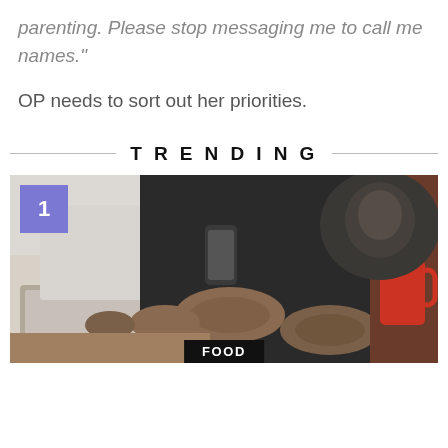parenting. Please stop messaging me to call me names."
OP needs to sort out her priorities.
TRENDING
[Figure (photo): Person with tattoos on arms using a laptop and holding a smartphone, sitting at a wooden desk with a red mug nearby. Number badge '1' in purple/blue square overlay. 'FOOD' label at bottom center.]